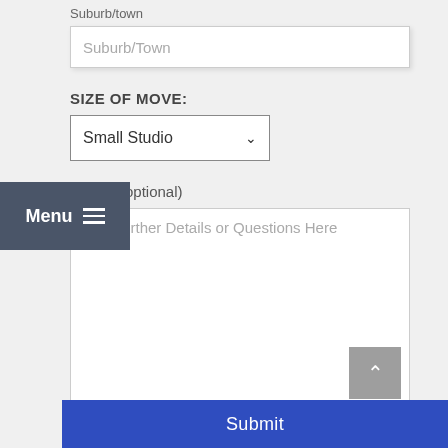Suburb/town
Suburb/Town
SIZE OF MOVE:
Small Studio
NOTE: (optional)
Any Further Details or Questions Here
Submit
Menu